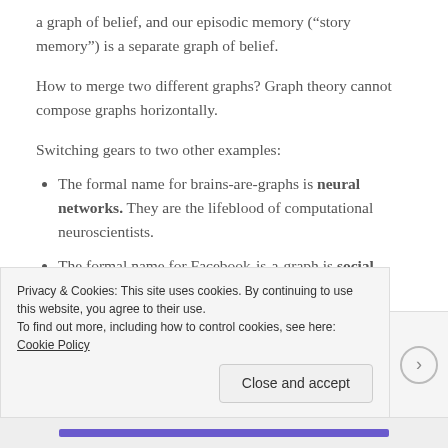a graph of belief, and our episodic memory (“story memory”) is a separate graph of belief.
How to merge two different graphs? Graph theory cannot compose graphs horizontally.
Switching gears to two other examples:
The formal name for brains-are-graphs is neural networks. They are the lifeblood of computational neuroscientists.
The formal name for Facebook-is-a-graph is social networks. They are vital to the research of
Privacy & Cookies: This site uses cookies. By continuing to use this website, you agree to their use.
To find out more, including how to control cookies, see here: Cookie Policy
Close and accept